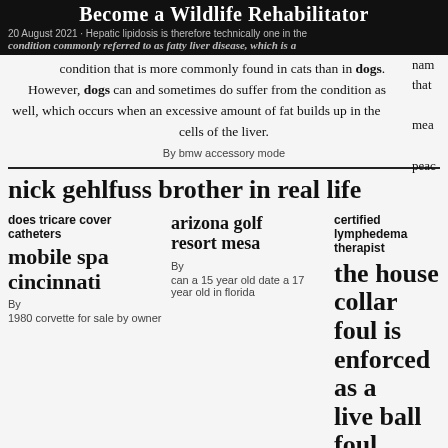Become a Wildlife Rehabilitator
20 August 2021 · Hepatic lipidosis is therefore technically one in the condition commonly referred to as fatty liver disease, which is a condition that is more commonly found in cats than in dogs. However, dogs can and sometimes do suffer from the condition as well, which occurs when an excessive amount of fat builds up in the cells of the liver.
By bmw accessory mode
nick gehlfuss brother in real life
does tricare cover catheters
mobile spa cincinnati
By
1980 corvette for sale by owner
arizona golf resort mesa
By
can a 15 year old date a 17 year old in florida
certified lymphedema therapist
the house collar foul is enforced as a live ball foul
By Sydney Page